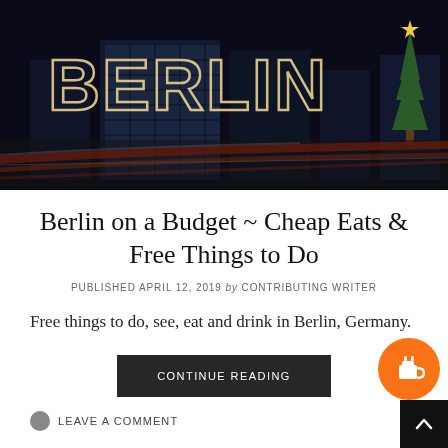[Figure (photo): Night photo of Berlin with large illuminated letters spelling BERLIN on a city street with light trails from traffic and a Christmas tree on the right]
Berlin on a Budget ~ Cheap Eats & Free Things to Do
PUBLISHED APRIL 12, 2019 by CONTRIBUTING WRITER
Free things to do, see, eat and drink in Berlin, Germany.
CONTINUE READING
LEAVE A COMMENT